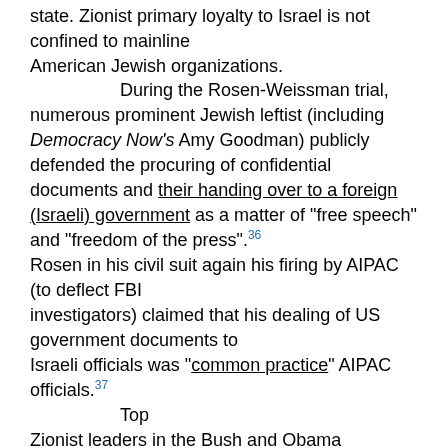state. Zionist primary loyalty to Israel is not confined to mainline American Jewish organizations.
	During the Rosen-Weissman trial, numerous prominent Jewish leftist (including Democracy Now's Amy Goodman) publicly defended the procuring of confidential documents and their handing over to a foreign (Israeli) government as a matter of "free speech" and "freedom of the press".36

Rosen in his civil suit again his firing by AIPAC (to deflect FBI investigators) claimed that his dealing of US government documents to Israeli officials was "common practice" AIPAC officials.37
	Top
Zionist leaders in the Bush and Obama administration have a long history of work for and with Israel, including in some cases activity,